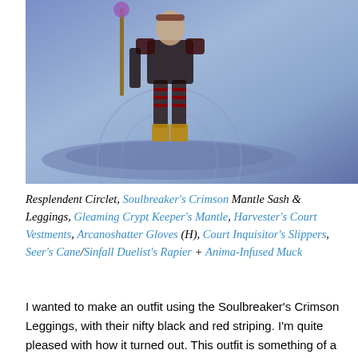[Figure (photo): A game character (likely a World of Warcraft character) floating or jumping above a stylized platform surface, wearing elaborate fantasy armor with gold and dark colors. The background is a blue-purple fantasy environment.]
Resplendent Circlet, Soulbreaker's Crimson Mantle Sash & Leggings, Gleaming Crypt Keeper's Mantle, Harvester's Court Vestments, Arcanoshatter Gloves (H), Court Inquisitor's Slippers, Seer's Cane/Sinfall Duelist's Rapier + Anima-Infused Muck
I wanted to make an outfit using the Soulbreaker's Crimson Leggings, with their nifty black and red striping. I'm quite pleased with how it turned out. This outfit is something of a successor/fusion and iteration of two previous kits (Blood Elf Mage #100 & #104). It remixes ideas I've used in various previous Venthyr outfits; the most novel thing about it is that I'm actually using the